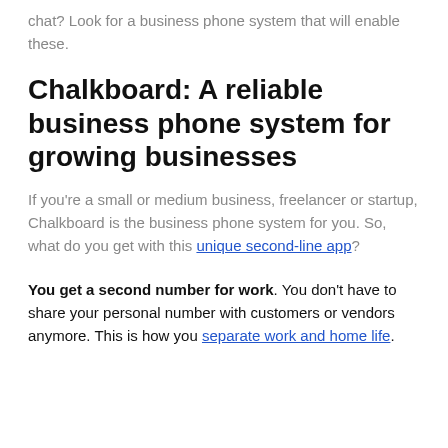chat? Look for a business phone system that will enable these.
Chalkboard: A reliable business phone system for growing businesses
If you're a small or medium business, freelancer or startup, Chalkboard is the business phone system for you. So, what do you get with this unique second-line app?
You get a second number for work. You don't have to share your personal number with customers or vendors anymore. This is how you separate work and home life.